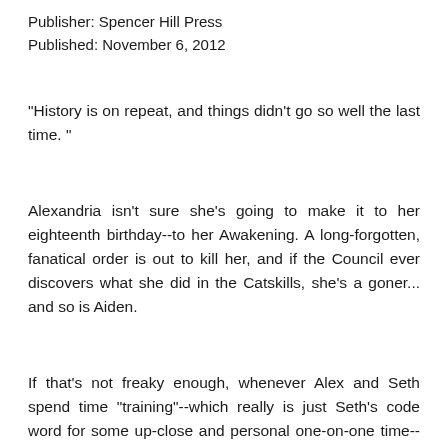Publisher: Spencer Hill Press
Published: November 6, 2012
"History is on repeat, and things didn't go so well the last time. "
Alexandria isn't sure she's going to make it to her eighteenth birthday--to her Awakening. A long-forgotten, fanatical order is out to kill her, and if the Council ever discovers what she did in the Catskills, she's a goner... and so is Aiden.
If that's not freaky enough, whenever Alex and Seth spend time "training"--which really is just Seth's code word for some up-close and personal one-on-one time--she ends up with another mark of the Apollyon, which brings her one step closer to Awakening ahead of schedule. Awesome.